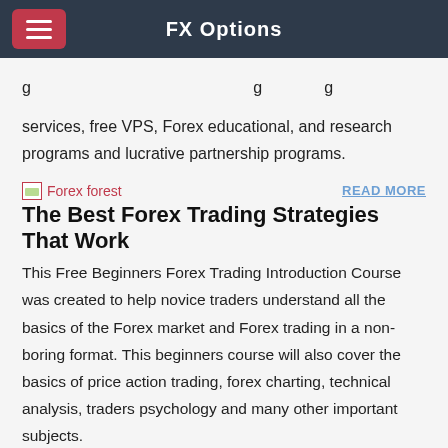FX Options
services, free VPS, Forex educational, and research programs and lucrative partnership programs.
[Figure (photo): Forex forest image placeholder icon]
READ MORE
The Best Forex Trading Strategies That Work
This Free Beginners Forex Trading Introduction Course was created to help novice traders understand all the basics of the Forex market and Forex trading in a non-boring format. This beginners course will also cover the basics of price action trading, forex charting, technical analysis, traders psychology and many other important subjects.
[Figure (photo): Person partially hidden behind blue curtain or fabric]
READ MORE
How to Make Money Trading Forex - BabyPips.com